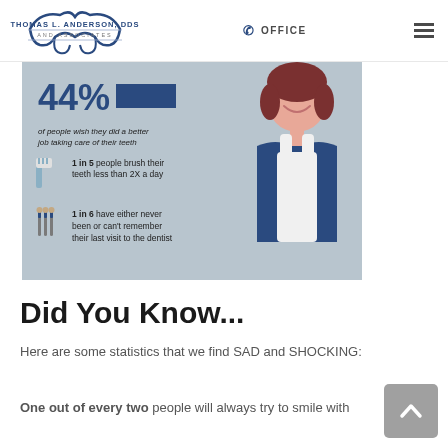THOMAS L. ANDERSON, DDS AND ASSOCIATES — OFFICE
[Figure (infographic): Dental health statistics infographic showing a smiling woman in overalls on a blue-grey background. Stats: 44% of people wish they did a better job taking care of their teeth; 1 in 5 people brush their teeth less than 2X a day; 1 in 6 have either never been or can't remember their last visit to the dentist.]
Did You Know...
Here are some statistics that we find SAD and SHOCKING:
One out of every two people will always try to smile with